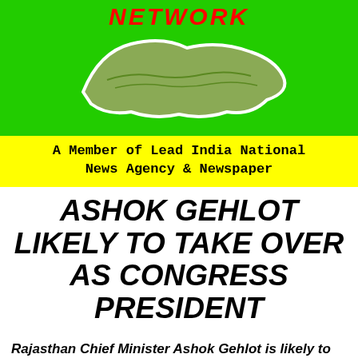[Figure (illustration): Green banner with red italic text 'NETWORK' and a map shape outline of a region on green background]
A Member of Lead India National News Agency & Newspaper
ASHOK GEHLOT LIKELY TO TAKE OVER AS CONGRESS PRESIDENT
Rajasthan Chief Minister Ashok Gehlot is likely to be appointed as the next Congress president as Rahul Gandhi is adamant on his stand that he does not want to continue as the party chief.